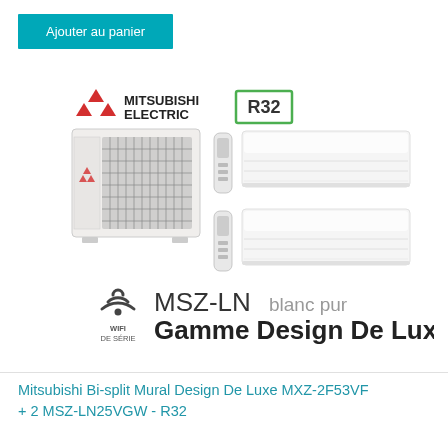Ajouter au panier
[Figure (photo): Mitsubishi Electric bi-split air conditioning unit product photo with R32 label, outdoor unit, two indoor wall units (MSZ-LN blanc pur), remote controls, and WIFI DE SÉRIE / Gamme Design De Luxe branding]
Mitsubishi Bi-split Mural Design De Luxe MXZ-2F53VF + 2 MSZ-LN25VGW - R32